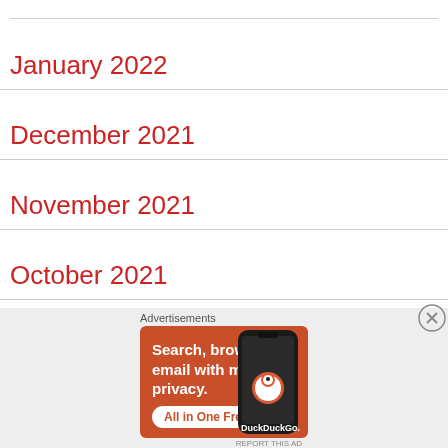January 2022
December 2021
November 2021
October 2021
September 2021
August 2021
July 2021
[Figure (screenshot): DuckDuckGo advertisement banner with text 'Search, browse, and email with more privacy. All in One Free App' on an orange background with a phone image and DuckDuckGo logo]